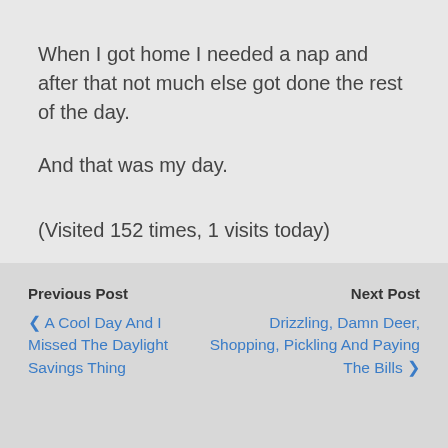When I got home I needed a nap and after that not much else got done the rest of the day.
And that was my day.
(Visited 152 times, 1 visits today)
Previous Post
‹ A Cool Day And I Missed The Daylight Savings Thing
Next Post
Drizzling, Damn Deer, Shopping, Pickling And Paying The Bills ›